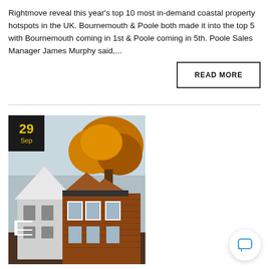Rightmove reveal this year's top 10 most in-demand coastal property hotspots in the UK. Bournemouth & Poole both made it into the top 5 with Bournemouth coming in 1st & Poole coming in 5th. Poole Sales Manager James Murphy said,...
READ MORE
[Figure (photo): Photograph of a row of brick houses with white-trimmed gabled roofs and an autumn tree with orange foliage in the foreground, blue-grey sky in background. A dark date badge overlay shows '29 Sep' in yellow text.]